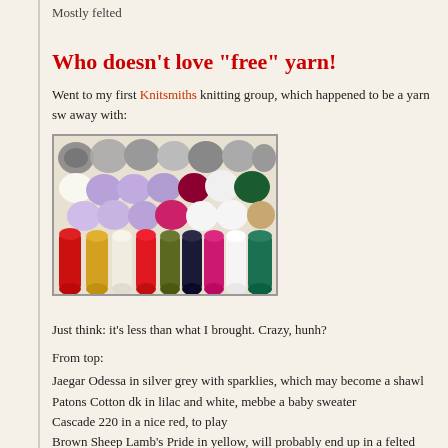Mostly felted
Who doesn't love "free" yarn!
Went to my first Knitsmiths knitting group, which happened to be a yarn sw away with:
[Figure (photo): Photo of a large collection of yarn balls and skeins in various colors including grey, purple, white, red, yellow, cream, olive, dark green, magenta, and teal arranged in rows.]
Just think: it's less than what I brought. Crazy, hunh?
From top:
Jaegar Odessa in silver grey with sparklies, which may become a shawl
Patons Cotton dk in lilac and white, mebbe a baby sweater
Cascade 220 in a nice red, to play
Brown Sheep Lamb's Pride in yellow, will probably end up in a felted slipp
Manos Cotton Stria in white and roses, to play